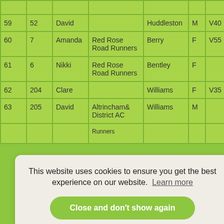| Pos | Bib | First | Club | Last | Sex | Cat |
| --- | --- | --- | --- | --- | --- | --- |
| 59 | 52 | David |  | Huddleston | M | V40 |
| 60 | 7 | Amanda | Red Rose Road Runners | Berry | F | V55 |
| 61 | 6 | Nikki | Red Rose Road Runners | Bentley | F |  |
| 62 | 204 | Clare |  | Williams | F | V35 |
| 63 | 205 | David | Altrincham& District AC | Williams | M |  |
This website uses cookies to ensure you get the best experience on our website. Learn more
Close and don't show again